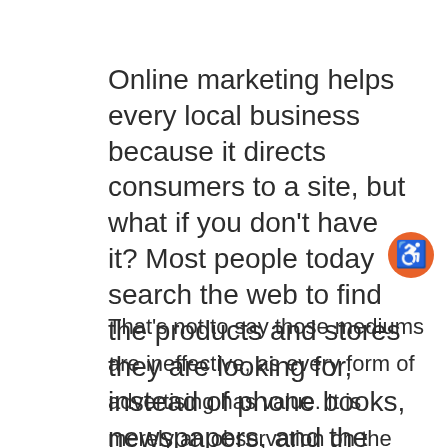Online marketing helps every local business because it directs consumers to a site, but what if you don't have it? Most people today search the web to find the products and stores they are looking for, instead of phone books, newspapers, and the yellow pages.
That's not to say those mediums are ineffective, as every form of advertising has value. It is merely an observation on the most common form of finding answers.